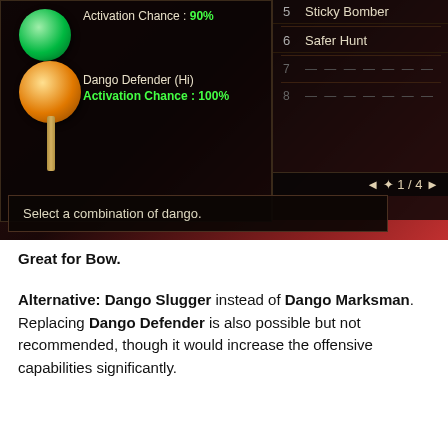[Figure (screenshot): Monster Hunter Rise game UI screenshot showing dango meal selection screen. Left panel shows two dango (a green ball and an orange ball on a stick). Text shows 'Activation Chance: 90%' in green, 'Dango Defender (Hi)', and 'Activation Chance: 100%' in green. Right panel shows numbered menu items: 5 Sticky Bomber, 6 Safer Hunt, 7 (dashes), 8 (dashes), with navigation '◄ ✦ 1/4 ►'. Bottom dialog box reads 'Select a combination of dango.']
Great for Bow.
Alternative: Dango Slugger instead of Dango Marksman. Replacing Dango Defender is also possible but not recommended, though it would increase the offensive capabilities significantly.